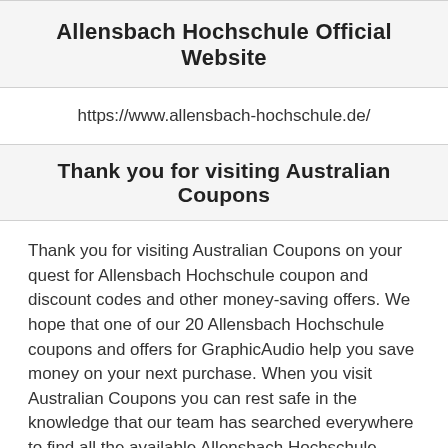Allensbach Hochschule Official Website
https://www.allensbach-hochschule.de/
Thank you for visiting Australian Coupons
Thank you for visiting Australian Coupons on your quest for Allensbach Hochschule coupon and discount codes and other money-saving offers. We hope that one of our 20 Allensbach Hochschule coupons and offers for GraphicAudio help you save money on your next purchase. When you visit Australian Coupons you can rest safe in the knowledge that our team has searched everywhere to find all the available Allensbach Hochschule deals. This includes checking the Allensbach Hochschule social accounts like Facebook, Twitter and Instagram, visiting blogs and forums related to Allensbach Hochschule, and even checking other top deal sites for the latest Allensbach Hochschule coupon codes.